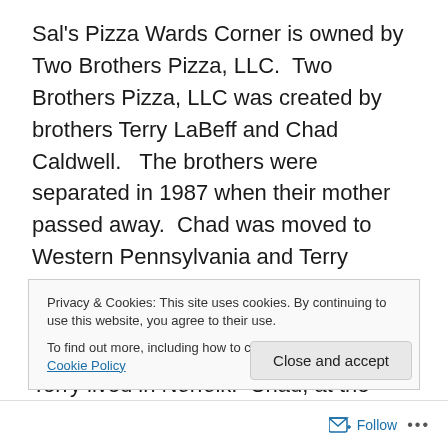Sal's Pizza Wards Corner is owned by Two Brothers Pizza, LLC.  Two Brothers Pizza, LLC was created by brothers Terry LaBeff and Chad Caldwell.   The brothers were separated in 1987 when their mother passed away.  Chad was moved to Western Pennsylvania and Terry remained in Upstate New York.   For 22 years they had no communication until one day in 2009 Chad found out that Terry lived in Norfolk.  Chad, at the time, was living in Virginia Beach.   The two brother have reconnected and gone into business together to bring Sal's Pizza to Wards Corner.  Terry currently lives in the Riverpoint area of
Privacy & Cookies: This site uses cookies. By continuing to use this website, you agree to their use.
To find out more, including how to control cookies, see here: Cookie Policy
Close and accept
Follow ···